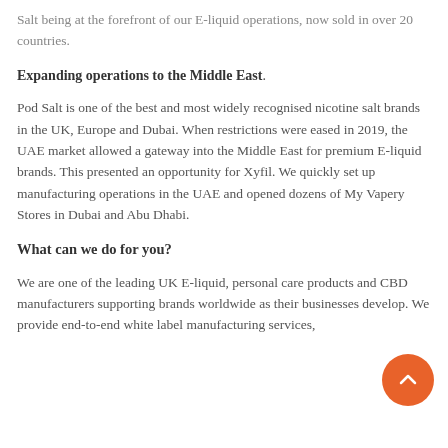Salt being at the forefront of our E-liquid operations, now sold in over 20 countries.
Expanding operations to the Middle East.
Pod Salt is one of the best and most widely recognised nicotine salt brands in the UK, Europe and Dubai. When restrictions were eased in 2019, the UAE market allowed a gateway into the Middle East for premium E-liquid brands. This presented an opportunity for Xyfil. We quickly set up manufacturing operations in the UAE and opened dozens of My Vapery Stores in Dubai and Abu Dhabi.
What can we do for you?
We are one of the leading UK E-liquid, personal care products and CBD manufacturers supporting brands worldwide as their businesses develop. We provide end-to-end white label manufacturing services,